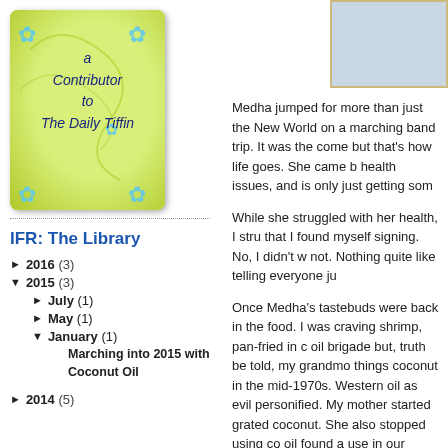[Figure (illustration): A green badge/sticker image with blue flower decorations and handwritten text reading 'a Contributor to The Daily Tiffin']
[Figure (photo): Partial placeholder image in top right corner with light blue/grey background and gold border]
IFR: The Library
► 2016 (3)
▼ 2015 (3)
► July (1)
► May (1)
▼ January (1)
Marching into 2015 with Coconut Oil
► 2014 (5)
Medha jumped for more than just the New World on a marching band trip. It was the come but that's how life goes. She came b health issues, and is only just getting som
While she struggled with her health, I stru that I found myself signing. No, I didn't w not. Nothing quite like telling everyone ju
Once Medha's tastebuds were back in the food. I was craving shrimp, pan-fried in c oil brigade but, truth be told, my grandmo things coconut in the mid-1970s. Western oil as evil personified. My mother started grated coconut. She also stopped using co oil found a use in our home, it was for ho